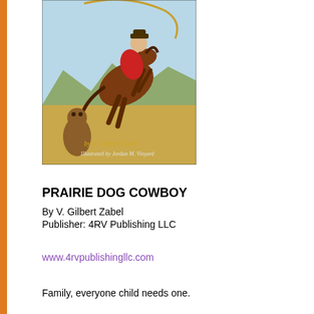[Figure (illustration): Book cover for 'Prairie Dog Cowboy' showing a cowboy on a rearing horse with a prairie dog in the foreground. Text on cover reads 'by V. Gilbert Zabel' and 'Illustrated by Jordan M. Vinyard'.]
PRAIRIE DOG COWBOY
By V. Gilbert Zabel
Publisher: 4RV Publishing LLC
www.4rvpublishingllc.com
Family, everyone child needs one.